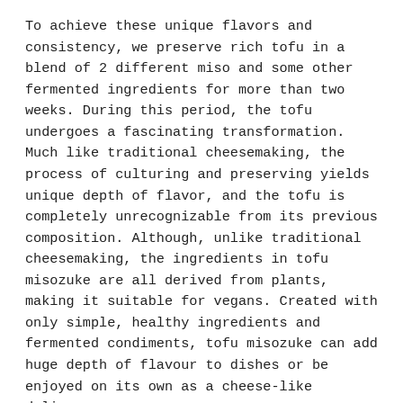To achieve these unique flavors and consistency, we preserve rich tofu in a blend of 2 different miso and some other fermented ingredients for more than two weeks. During this period, the tofu undergoes a fascinating transformation. Much like traditional cheesemaking, the process of culturing and preserving yields unique depth of flavor, and the tofu is completely unrecognizable from its previous composition. Although, unlike traditional cheesemaking, the ingredients in tofu misozuke are all derived from plants, making it suitable for vegans. Created with only simple, healthy ingredients and fermented condiments, tofu misozuke can add huge depth of flavour to dishes or be enjoyed on its own as a cheese-like delicacy.